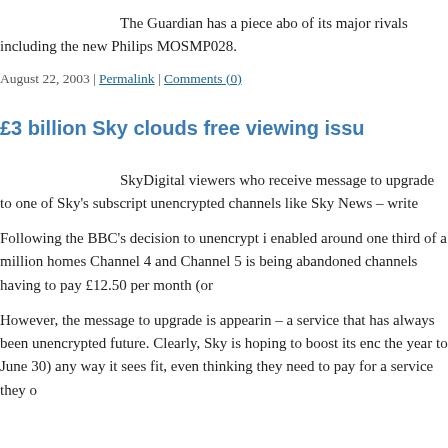The Guardian has a piece about the iPod and a few of its major rivals including the new Philips MOSMP028.
August 22, 2003 | Permalink | Comments (0)
£3 billion Sky clouds free viewing issu
SkyDigital viewers who receive message to upgrade to one of Sky's subscript unencrypted channels like Sky News – write
Following the BBC's decision to unencrypt i enabled around one third of a million homes Channel 4 and Channel 5 is being abandoned channels having to pay £12.50 per month (or
However, the message to upgrade is appearin – a service that has always been unencrypted future. Clearly, Sky is hoping to boost its enc the year to June 30) any way it sees fit, even thinking they need to pay for a service they o